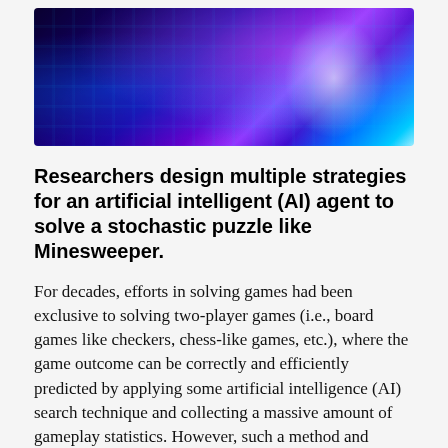[Figure (illustration): A digital art image with blue and purple hues showing circuit board patterns and a glowing humanoid/robot figure, representing artificial intelligence.]
Researchers design multiple strategies for an artificial intelligent (AI) agent to solve a stochastic puzzle like Minesweeper.
For decades, efforts in solving games had been exclusive to solving two-player games (i.e., board games like checkers, chess-like games, etc.), where the game outcome can be correctly and efficiently predicted by applying some artificial intelligence (AI) search technique and collecting a massive amount of gameplay statistics. However, such a method and technique cannot be applied directly to the puzzle-solving domain since puzzles are generally played alone (single-player) and have unique characteristics (such as